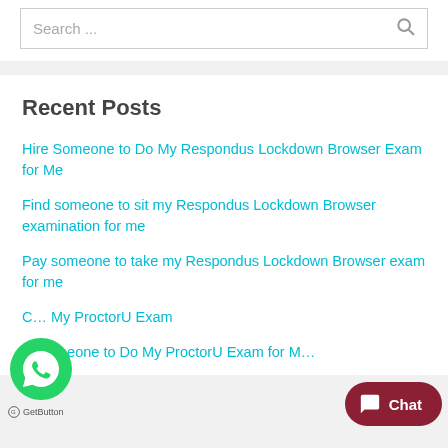Search ...
Recent Posts
Hire Someone to Do My Respondus Lockdown Browser Exam for Me
Find someone to sit my Respondus Lockdown Browser examination for me
Pay someone to take my Respondus Lockdown Browser exam for me
C... My ProctorU Exam
H...omeone to Do My ProctorU Exam for M...